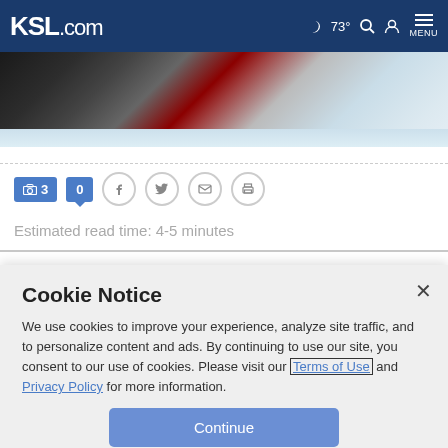KSL.com — 73° navigation bar with search, user, and menu icons
[Figure (photo): Ice hockey scene — skates and equipment on ice surface]
[Figure (screenshot): Toolbar with camera icon showing 3, comment bubble showing 0, and social share icons for Facebook, Twitter, email, and print]
Estimated read time: 4-5 minutes
Cookie Notice
We use cookies to improve your experience, analyze site traffic, and to personalize content and ads. By continuing to use our site, you consent to our use of cookies. Please visit our Terms of Use and Privacy Policy for more information.
Continue